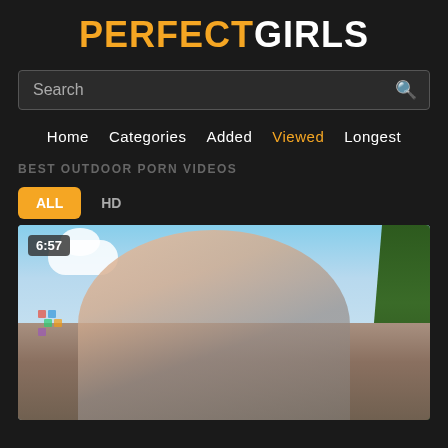PERFECTGIRLS
Search
Home  Categories  Added  Viewed  Longest
BEST OUTDOOR PORN VIDEOS
ALL  HD
[Figure (photo): Video thumbnail showing outdoor scene, duration 6:57]